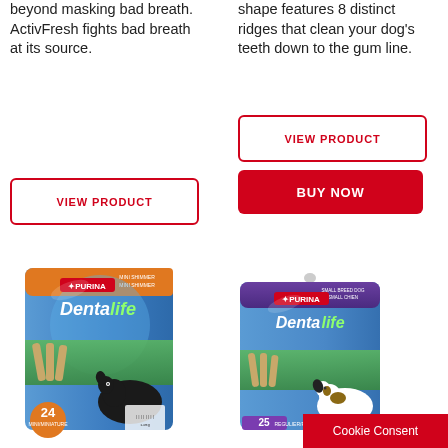beyond masking bad breath. ActivFresh fights bad breath at its source.
shape features 8 distinct ridges that clean your dog's teeth down to the gum line.
VIEW PRODUCT
VIEW PRODUCT
BUY NOW
[Figure (photo): Purina DentaLife dog dental chew package, small/miniature, 24 count, with black puppy]
[Figure (photo): Purina DentaLife dog dental chew package, small dog, 25 count, with small white and brown dog]
Cookie Consent